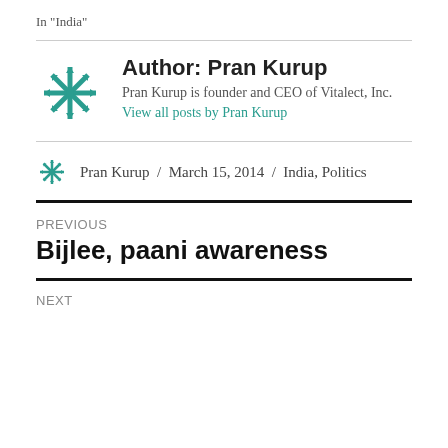In "India"
[Figure (logo): Teal snowflake/star logo for Pran Kurup / Vitalect]
Author: Pran Kurup
Pran Kurup is founder and CEO of Vitalect, Inc.
View all posts by Pran Kurup
[Figure (logo): Small teal snowflake/star logo]
Pran Kurup / March 15, 2014 / India, Politics
PREVIOUS
Bijlee, paani awareness
NEXT